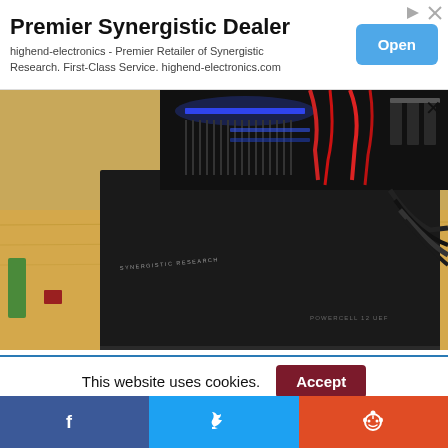[Figure (other): Advertisement banner for Premier Synergistic Dealer - highend-electronics with Open button and ad icons]
[Figure (photo): Close-up photo of a Synergistic Research PowerCell 12 UEF power conditioner device, black metal chassis with blue LED lighting and red/black cables visible at top, sitting on a wooden shelf. Text on device reads SYNERGISTIC RESEARCH and POWERCELL 12 UEF.]
This website uses cookies.
[Figure (other): Social media share buttons: Facebook (blue), Twitter (light blue), Reddit (orange-red)]